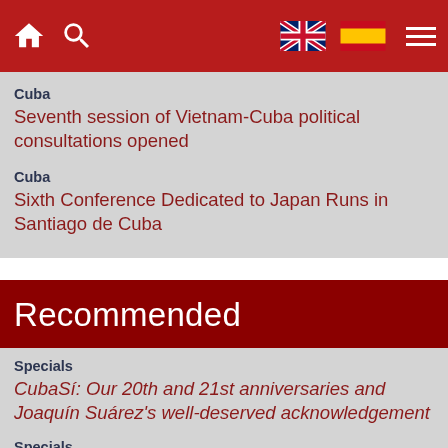Navigation bar with home, search, UK flag, Spanish flag, and menu icons
Cuba
Seventh session of Vietnam-Cuba political consultations opened
Cuba
Sixth Conference Dedicated to Japan Runs in Santiago de Cuba
Recommended
Specials
CubaSí: Our 20th and 21st anniversaries and Joaquín Suárez's well-deserved acknowledgement
Specials